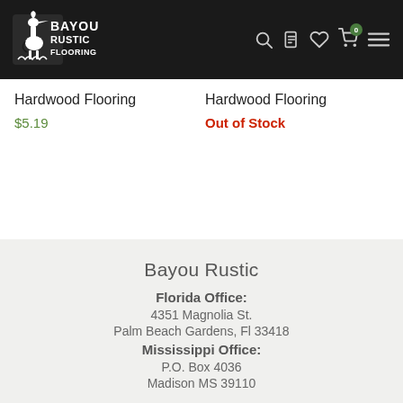[Figure (logo): Bayou Rustic Flooring logo with heron bird graphic, white on dark background]
Hardwood Flooring
$5.19
Hardwood Flooring
Out of Stock
Bayou Rustic
Florida Office:
4351 Magnolia St.
Palm Beach Gardens, Fl 33418
Mississippi Office:
P.O. Box 4036
Madison MS 39110